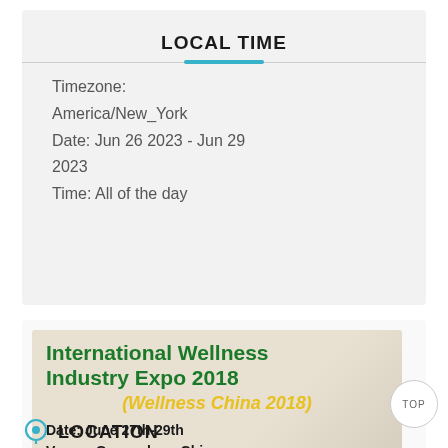LOCAL TIME
Timezone: America/New_York
Date: Jun 26 2023 - Jun 29 2023
Time: All of the day
[Figure (illustration): International Wellness Industry Expo 2018 (Wellness China 2018) banner. Date: June 27th-29th, Venue: Guangzhou, China, www.cnwie.com]
LOCATION